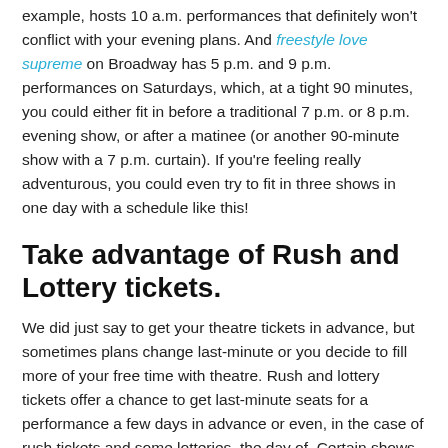example, hosts 10 a.m. performances that definitely won't conflict with your evening plans. And freestyle love supreme on Broadway has 5 p.m. and 9 p.m. performances on Saturdays, which, at a tight 90 minutes, you could either fit in before a traditional 7 p.m. or 8 p.m. evening show, or after a matinee (or another 90-minute show with a 7 p.m. curtain). If you're feeling really adventurous, you could even try to fit in three shows in one day with a schedule like this!
Take advantage of Rush and Lottery tickets.
We did just say to get your theatre tickets in advance, but sometimes plans change last-minute or you decide to fill more of your free time with theatre. Rush and lottery tickets offer a chance to get last-minute seats for a performance a few days in advance or even, in the case of rush tickets and some lotteries, the day of. Certain shows have rush tickets available right at the box office, and others host lotteries and distribute rush